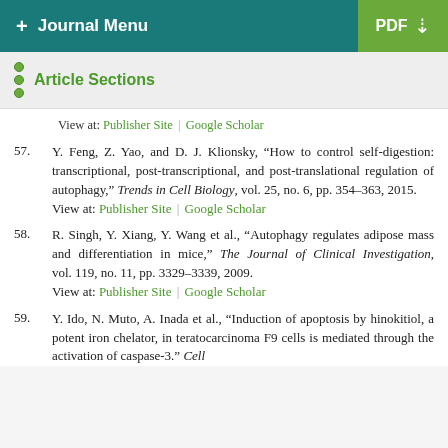+ Journal Menu | PDF
Article Sections
View at: Publisher Site | Google Scholar
57. Y. Feng, Z. Yao, and D. J. Klionsky, “How to control self-digestion: transcriptional, post-transcriptional, and post-translational regulation of autophagy,” Trends in Cell Biology, vol. 25, no. 6, pp. 354–363, 2015. View at: Publisher Site | Google Scholar
58. R. Singh, Y. Xiang, Y. Wang et al., “Autophagy regulates adipose mass and differentiation in mice,” The Journal of Clinical Investigation, vol. 119, no. 11, pp. 3329–3339, 2009. View at: Publisher Site | Google Scholar
59. Y. Ido, N. Muto, A. Inada et al., “Induction of apoptosis by hinokitiol, a potent iron chelator, in teratocarcinoma F9 cells is mediated through the activation of caspase-3.” Cell